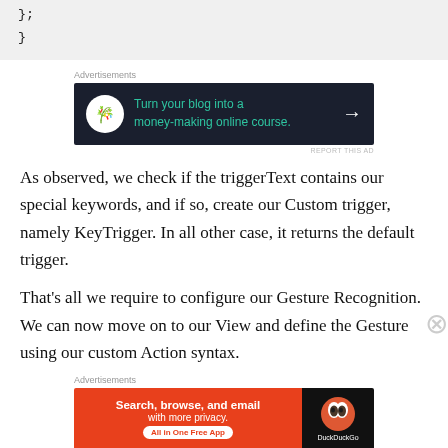);
}
[Figure (other): Advertisement banner: 'Turn your blog into a money-making online course.' on dark background with arrow]
As observed, we check if the triggerText contains our special keywords, and if so, create our Custom trigger, namely KeyTrigger. In all other case, it returns the default trigger.
That’s all we require to configure our Gesture Recognition. We can now move on to our View and define the Gesture using our custom Action syntax.
[Figure (other): Advertisement banner: 'Search, browse, and email with more privacy. All in One Free App' - DuckDuckGo]